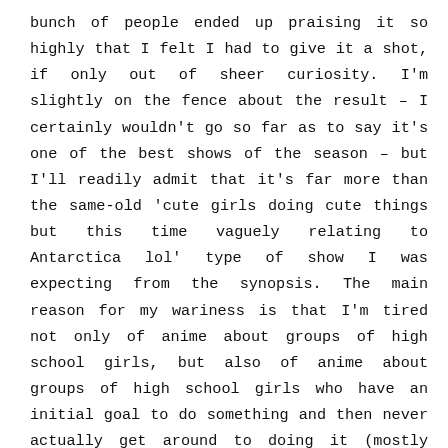bunch of people ended up praising it so highly that I felt I had to give it a shot, if only out of sheer curiosity. I'm slightly on the fence about the result – I certainly wouldn't go so far as to say it's one of the best shows of the season – but I'll readily admit that it's far more than the same-old 'cute girls doing cute things but this time vaguely relating to Antarctica lol' type of show I was expecting from the synopsis. The main reason for my wariness is that I'm tired not only of anime about groups of high school girls, but also of anime about groups of high school girls who have an initial goal to do something and then never actually get around to doing it (mostly because they're too busy getting crushes, talking amongst themselves about nothing in particular, and whatever else Japanese schoolgirls apparently do most of the time). That's still a distinct possibility here – seriously, if the girls never make it to Antarctica, or at least make some serious progress to